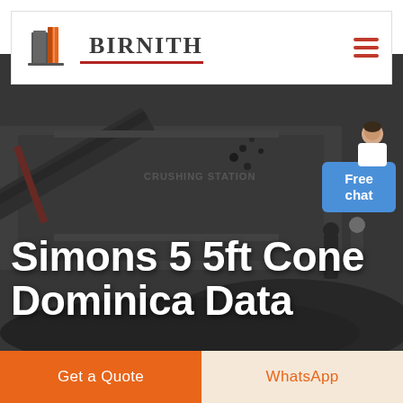[Figure (logo): Birnith company logo: orange and grey building/skyscraper icon with the word BIRNITH in dark serif text and a red underline, plus hamburger menu icon in orange-red on the right]
[Figure (photo): Industrial crushing station machinery in dark/greyscale tones, showing large mechanical equipment processing rocks or coal, with people visible in background]
Simons 5 5ft Cone Dominica Data
Free chat
Get a Quote
WhatsApp